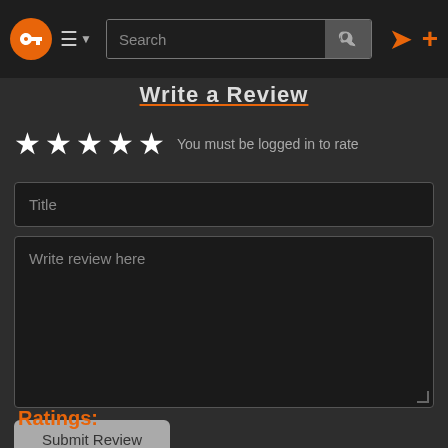Navigation bar with logo, menu, search, login and add icons
Write a Review
★ ★ ★ ★ ★  You must be logged in to rate
Title (input field)
Write review here (textarea)
Submit Review
Ratings: